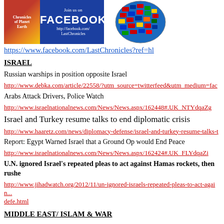[Figure (other): Facebook banner with book cover on left, FACEBOOK text and URL on blue background, and a globe with country flags on the right]
https://www.facebook.com/LastChronicles?ref=hl
ISRAEL
Russian warships in position opposite Israel
http://www.debka.com/article/22558/?utm_source=twitterfeed&utm_medium=fac
Arabs Attack Drivers, Police Watch
http://www.israelnationalnews.com/News/News.aspx/162448#.UK_NTYdqaZg
Israel and Turkey resume talks to end diplomatic crisis
http://www.haaretz.com/news/diplomacy-defense/israel-and-turkey-resume-talks-t
Report: Egypt Warned Israel that a Ground Op would End Peace
http://www.israelnationalnews.com/News/News.aspx/162424#.UK_FLYdqaZi
U.N. ignored Israel's repeated pleas to act against Hamas rockets, then rushed to...
http://www.jihadwatch.org/2012/11/un-ignored-israels-repeated-pleas-to-act-again...defe.html
MIDDLE EAST/ ISLAM & WAR